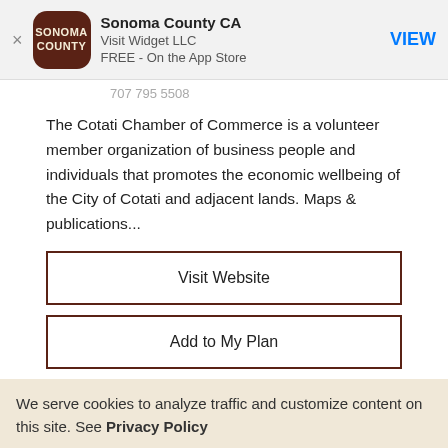[Figure (screenshot): App Store banner for Sonoma County CA app by Visit Widget LLC, showing app icon with SONOMA COUNTY text, app name, developer name, price, and VIEW button]
The Cotati Chamber of Commerce is a volunteer member organization of business people and individuals that promotes the economic wellbeing of the City of Cotati and adjacent lands. Maps & publications...
Visit Website
Add to My Plan
We serve cookies to analyze traffic and customize content on this site. See Privacy Policy